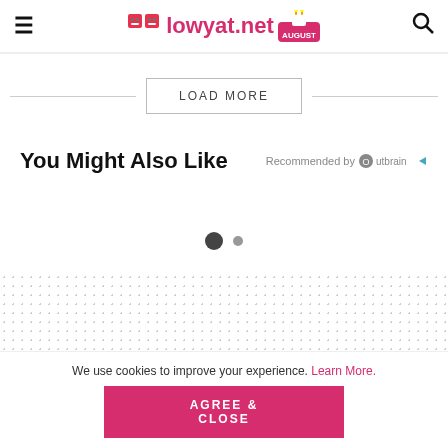≡ lowyat.net [birthday badge] 🔍
LOAD MORE
You Might Also Like
Recommended by Outbrain
[Figure (other): Carousel navigation dots: one large filled dark dot and one smaller grey dot]
[Figure (other): Dotted pattern area used as ad/content placeholder]
HOME > GAMING > CONSOLE
We use cookies to improve your experience. Learn More.
AGREE & CLOSE